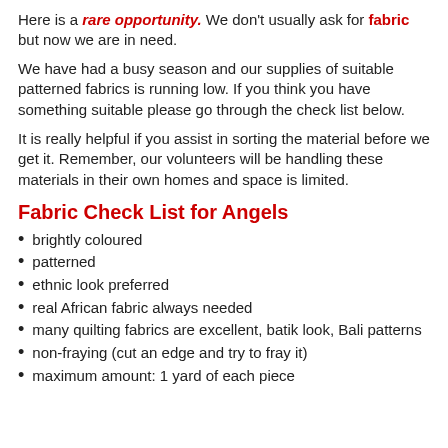Here is a rare opportunity. We don't usually ask for fabric but now we are in need.
We have had a busy season and our supplies of suitable patterned fabrics is running low. If you think you have something suitable please go through the check list below.
It is really helpful if you assist in sorting the material before we get it. Remember, our volunteers will be handling these materials in their own homes and space is limited.
Fabric Check List for Angels
brightly coloured
patterned
ethnic look preferred
real African fabric always needed
many quilting fabrics are excellent, batik look, Bali patterns
non-fraying (cut an edge and try to fray it)
maximum amount: 1 yard of each piece